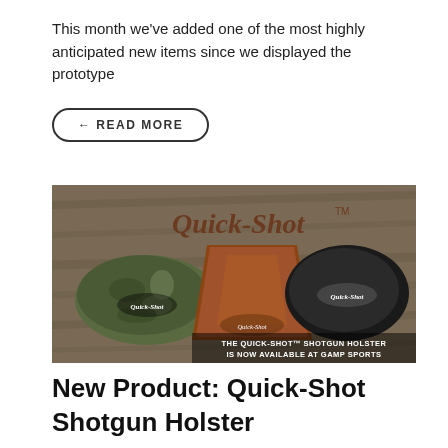This month we've added one of the most highly anticipated new items since we displayed the prototype
← READ MORE
[Figure (photo): Quick-Shot shotgun holster product advertisement image showing three holsters (camo, brown leather, black) on a wood background with text 'THE QUICK-SHOT SHOTGUN HOLSTER IS NOW AVAILABLE AT GAMP SPORTS']
New Product: Quick-Shot Shotgun Holster